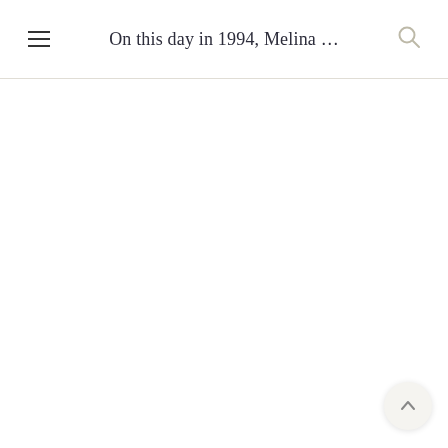On this day in 1994, Melina ...
[Figure (screenshot): Empty white content area below the header, with a thin horizontal divider line separating the header from the body.]